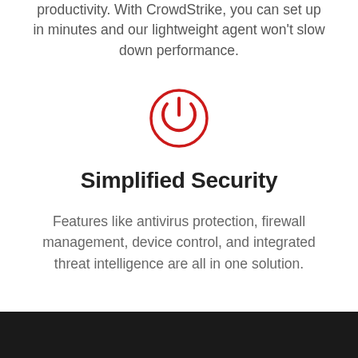productivity. With CrowdStrike, you can set up in minutes and our lightweight agent won't slow down performance.
[Figure (illustration): Red power button icon — circle with a vertical line at top, drawn in red outline style]
Simplified Security
Features like antivirus protection, firewall management, device control, and integrated threat intelligence are all in one solution.